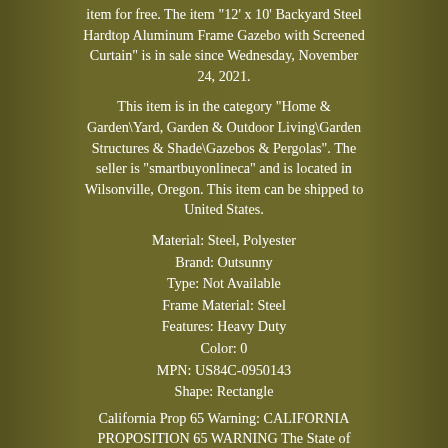item for free. The item "12' x 10' Backyard Steel Hardtop Aluminum Frame Gazebo with Screened Curtain" is in sale since Wednesday, November 24, 2021.
This item is in the category "Home & Garden\Yard, Garden & Outdoor Living\Garden Structures & Shade\Gazebos & Pergolas". The seller is "smartbuyonlineca" and is located in Wilsonville, Oregon. This item can be shipped to United States.
Material: Steel, Polyester
Brand: Outsunny
Type: Not Available
Frame Material: Steel
Features: Heavy Duty
Color: 0
MPN: US84C-0950143
Shape: Rectangle
California Prop 65 Warning: CALIFORNIA PROPOSITION 65 WARNING The State of California Health and Safety Code Section 25249.6, et seq. 65, requires products to be labeled if any of over 809 chemicals are present even in trace amounts. WARNING: This product can expose you to chemicals including Bisphenol A (BPA), which is known by the State of California